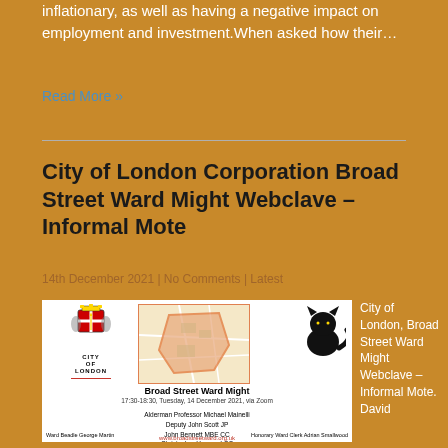inflationary, as well as having a negative impact on employment and investment.When asked how their…
Read More »
City of London Corporation Broad Street Ward Might Webclave – Informal Mote
14th December 2021 | No Comments | Latest
[Figure (other): Flyer image for Broad Street Ward Might meeting showing City of London coat of arms, ward map, a cat silhouette, and meeting details: Broad Street Ward Might, 17:30-18:30, Tuesday, 14 December 2021, via Zoom. Attendees: Alderman Professor Michael Mainelli, Deputy John Scott JP, John Bennett MBE CC, Christopher Hayward CC. Ward Beadle George Martin, Honorary Ward Clerk Adrian Smallwood. www.broadstreetward.org.uk]
City of London, Broad Street Ward Might Webclave – Informal Mote. David